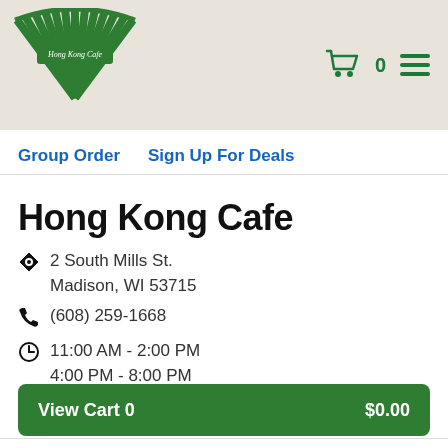[Figure (logo): Hong Kong Cafe green fan/peacock logo with text 'Hong Kong Cafe' in center]
Cart 0  ≡
Group Order   Sign Up For Deals
Hong Kong Cafe
2 South Mills St. Madison, WI 53715
(608) 259-1668
11:00 AM - 2:00 PM  4:00 PM - 8:00 PM
97% of 267 customers recommended
View Cart 0   $0.00